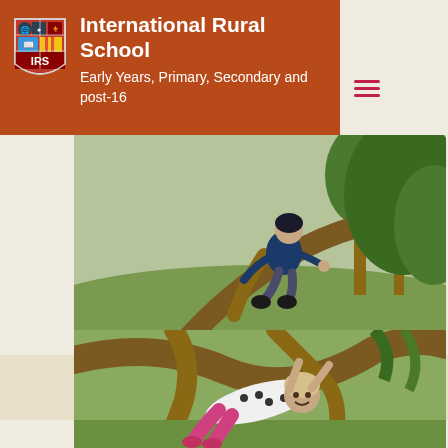International Rural School — Early Years, Primary, Secondary and post-16
[Figure (photo): Child climbing on a tree branch in a grassy outdoor area with trees in background]
[Figure (photo): Young child playing/hanging in a tree with grass and tree branches visible]